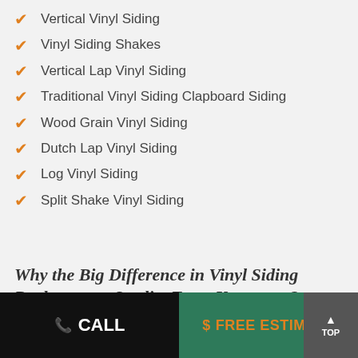Vertical Vinyl Siding
Vinyl Siding Shakes
Vertical Lap Vinyl Siding
Traditional Vinyl Siding Clapboard Siding
Wood Grain Vinyl Siding
Dutch Lap Vinyl Siding
Log Vinyl Siding
Split Shake Vinyl Siding
Why the Big Difference in Vinyl Siding Replacement Quality From Yesteryear?
Today many of the vinyl replacement siding manufacturers
CALL   $ FREE ESTIMATE   TOP